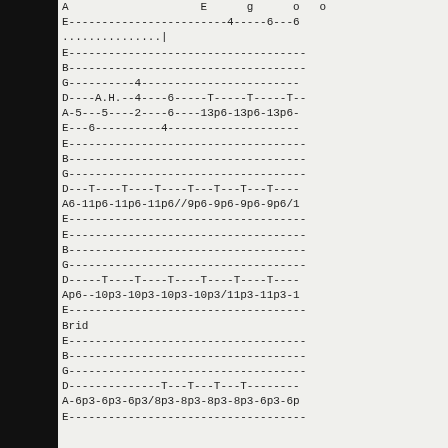A                    E      g      o   o
E------------------------4-----6---6
...............|
E------------------------------------
B------------------------------------
G----------4------------------------
D----A.H.--4----6-----T-----T-----T--
A-5---5----2----6----13p6-13p6-13p6-
E---6----------4--------------------
E------------------------------------
B------------------------------------
G------------------------------------
D---T----T----T----T---T---T---T----
A6-11p6-11p6-11p6//9p6-9p6-9p6-9p6/1
E------------------------------------
E------------------------------------
B------------------------------------
G------------------------------------
D-----T----T----T----T----T----T----
Ap6--10p3-10p3-10p3-10p3/11p3-11p3-1
E------------------------------------
Brid
E------------------------------------
B------------------------------------
G------------------------------------
D--------------T---T---T---T--------
A-6p3-6p3-6p3/8p3-8p3-8p3-8p3-6p3-6p
E------------------------------------